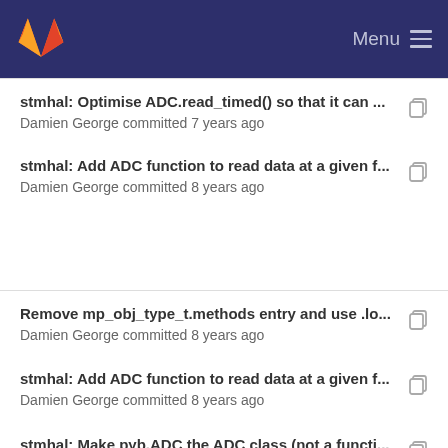GitLab — Menu
stmhal: Optimise ADC.read_timed() so that it can ...
Damien George committed 7 years ago
stmhal: Add ADC function to read data at a given f...
Damien George committed 8 years ago
Remove mp_obj_type_t.methods entry and use .lo...
Damien George committed 8 years ago
stmhal: Add ADC function to read data at a given f...
Damien George committed 8 years ago
stmhal: Make pyb.ADC the ADC class (not a functi...
Damien George committed 8 years ago